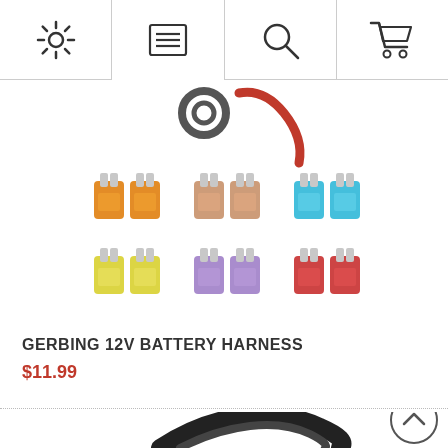Navigation bar with settings, menu, search, and cart icons
[Figure (photo): Product image showing colorful automotive blade fuses in two rows: top row has orange (20A), brown/tan (7.5A), and cyan/blue (15A) fuse pairs; bottom row has yellow (20A), purple (3A), and red (10A) fuse pairs, plus partial view of a ring terminal connector above]
GERBING 12V BATTERY HARNESS
$11.99
[Figure (photo): Bottom portion of page showing a coiled black wire/cable battery harness product image]